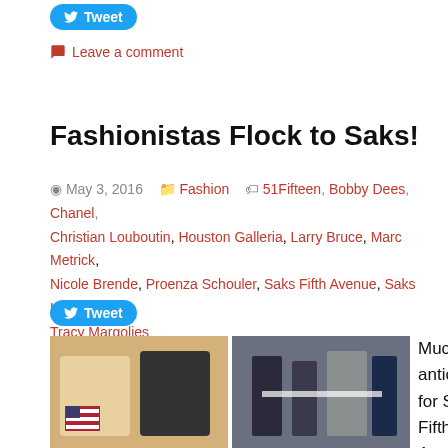Tweet
Leave a comment
Fashionistas Flock to Saks!
May 3, 2016   Fashion   51Fifteen, Bobby Dees, Chanel, Christian Louboutin, Houston Galleria, Larry Bruce, Marc Metrick, Nicole Brende, Proenza Schouler, Saks Fifth Avenue, Saks Houston, Tracy Margolies
Tweet
[Figure (photo): Two photos in a grid: left shows two women posing, one holding an American flag clutch; right shows a ribbon-cutting ceremony with several people.]
[Figure (photo): Two photos in bottom row: left shows a performer in elaborate feathered costume; right shows two women smiling at an event.]
Much anticipation for Saks Fifth Avenue in the Houston